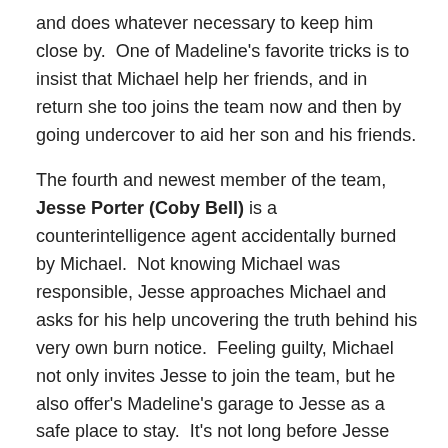and does whatever necessary to keep him close by.  One of Madeline's favorite tricks is to insist that Michael help her friends, and in return she too joins the team now and then by going undercover to aid her son and his friends.
The fourth and newest member of the team, Jesse Porter (Coby Bell) is a counterintelligence agent accidentally burned by Michael.  Not knowing Michael was responsible, Jesse approaches Michael and asks for his help uncovering the truth behind his very own burn notice.  Feeling guilty, Michael not only invites Jesse to join the team, but he also offer's Madeline's garage to Jesse as a safe place to stay.  It's not long before Jesse puts two and two together, and though he ponders killing Michael, he ultimately rejoins the team after Madeline tricks her son and his friend into talking it out.